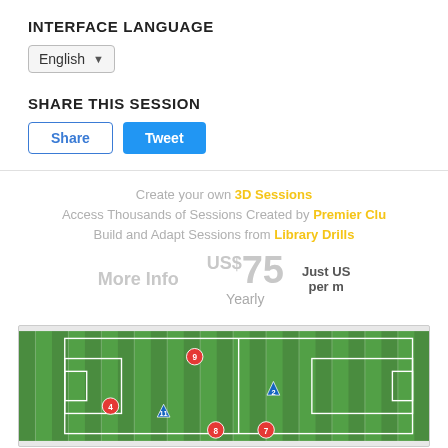INTERFACE LANGUAGE
English
SHARE THIS SESSION
Share | Tweet
Create your own 3D Sessions
Access Thousands of Sessions Created by Premier Clubs
Build and Adapt Sessions from Library Drills
More Info  US$75 Yearly  Just US$ per m
[Figure (illustration): Soccer/football field diagram with player tokens numbered 2, 4, 7, 8, 9, 11 positioned on a green striped pitch with white line markings and goal areas.]